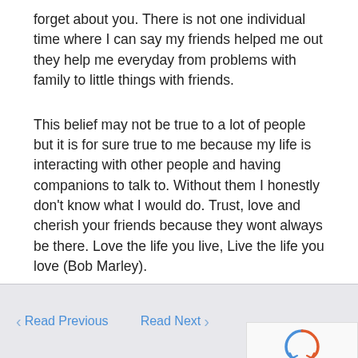forget about you. There is not one individual time where I can say my friends helped me out they help me everyday from problems with family to little things with friends.
This belief may not be true to a lot of people but it is for sure true to me because my life is interacting with other people and having companions to talk to. Without them I honestly don't know what I would do. Trust, love and cherish your friends because they wont always be there. Love the life you live, Live the life you love (Bob Marley).
< Read Previous   Read Next >   x